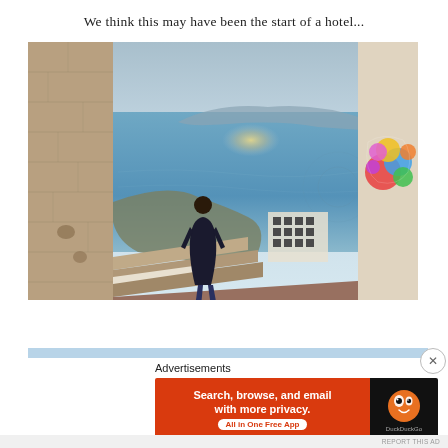We think this may have been the start of a hotel...
[Figure (photo): A person standing on stone steps looking out over a caldera sea view, with rocky stone walls on the left, a white building on the right with colorful graffiti, and a distant island visible in the blue water below under a hazy sky.]
Advertisements
[Figure (screenshot): DuckDuckGo advertisement banner: orange background with text 'Search, browse, and email with more privacy. All in One Free App' and DuckDuckGo duck logo on dark background on the right side.]